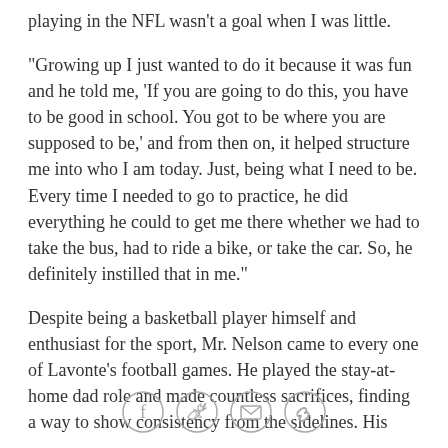playing in the NFL wasn't a goal when I was little.
"Growing up I just wanted to do it because it was fun and he told me, 'If you are going to do this, you have to be good in school. You got to be where you are supposed to be,' and from then on, it helped structure me into who I am today. Just, being what I need to be. Every time I needed to go to practice, he did everything he could to get me there whether we had to take the bus, had to ride a bike, or take the car. So, he definitely instilled that in me."
Despite being a basketball player himself and enthusiast for the sport, Mr. Nelson came to every one of Lavonte's football games. He played the stay-at-home dad role and made countless sacrifices, finding a way to show consistency from the sidelines. His
[Figure (other): Social share icons: Facebook, Twitter, Email, Link]